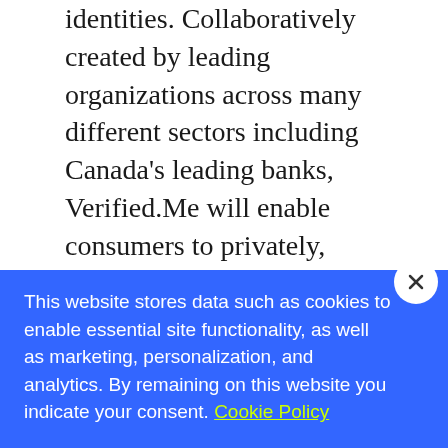identities. Collaboratively created by leading organizations across many different sectors including Canada's leading banks, Verified.Me will enable consumers to privately, securely and conveniently share information from trusted providers such as banks, telecommunications companies and governments. The platform is designed to empower the consumer by giving them the ability to explicitly choose what information to share, when to share it and with whom. Come see how
This website stores data such as cookies to enable essential site functionality, as well as marketing, personalization, and analytics. By remaining on this website you indicate your consent. Cookie Policy